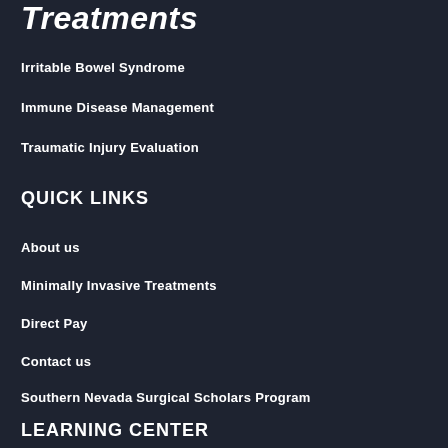Treatments
Irritable Bowel Syndrome
Immune Disease Management
Traumatic Injury Evaluation
QUICK LINKS
About us
Minimally Invasive Treatments
Direct Pay
Contact us
Southern Nevada Surgical Scholars Program
LEARNING CENTER